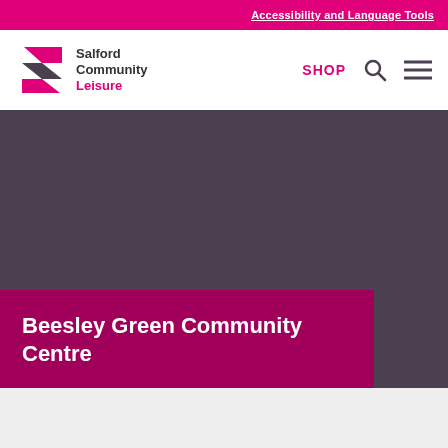Accessibility and Language Tools
[Figure (logo): Salford Community Leisure logo with stylised S-shape in pink and dark grey, with text 'Salford Community Leisure']
SHOP
[Figure (screenshot): Hero image area with dark grey/purple background showing a community centre]
Beesley Green Community Centre